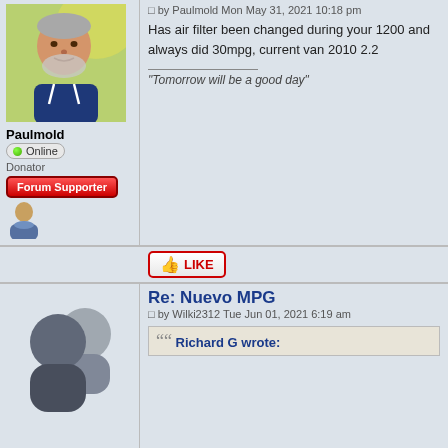[Figure (photo): Profile photo of Paulmold, a middle-aged man with grey beard seated outdoors on grass]
Paulmold
Online
Donator
[Figure (illustration): Forum Supporter red button]
[Figure (illustration): User icon - blue shirt person illustration]
Posts : 22296
Joined : 2011-02-21
Member Age : 71
Location : North East Wales
Auto-Sleeper : Sussex Duo
Vehicle Year : 2010
Has air filter been changed during your 1200 and always did 30mpg, current van 2010 2.2
"Tomorrow will be a good day"
[Figure (illustration): LIKE button with thumbs up icon]
Re: Nuevo MPG
by Wilki2312 Tue Jun 01, 2021 6:19 am
[Figure (illustration): Default avatar placeholder - grey silhouette of person]
Richard G wrote: